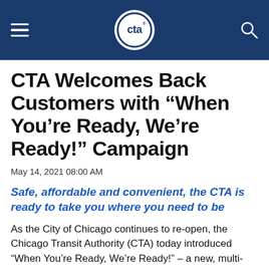CTA (Chicago Transit Authority) navigation header
CTA Welcomes Back Customers with “When You’re Ready, We’re Ready!” Campaign
May 14, 2021 08:00 AM
Safe, affordable and convenient, the CTA is ready to take you where you need to be
As the City of Chicago continues to re-open, the Chicago Transit Authority (CTA) today introduced “When You’re Ready, We’re Ready!” – a new, multi-faceted campaign designed to welcome riders back